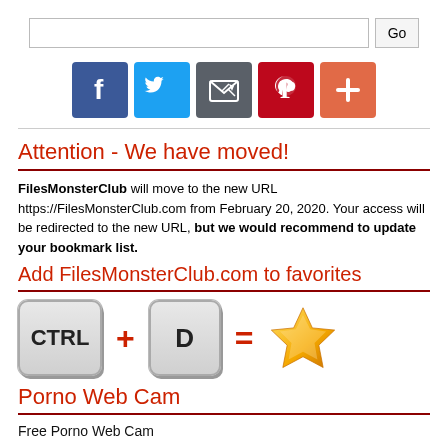[Figure (screenshot): Search bar with text input and Go button]
[Figure (infographic): Social media share icons: Facebook, Twitter, Email, Pinterest, Plus]
Attention - We have moved!
FilesMonsterClub will move to the new URL https://FilesMonsterClub.com from February 20, 2020. Your access will be redirected to the new URL, but we would recommend to update your bookmark list.
Add FilesMonsterClub.com to favorites
[Figure (infographic): Keyboard shortcut illustration: CTRL key + D key = gold star (favorites)]
Porno Web Cam
Free Porno Web Cam
Category